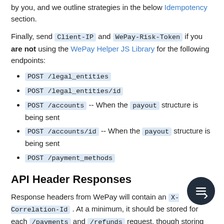by you, and we outline strategies in the below Idempotency section.
Finally, send Client-IP and WePay-Risk-Token if you are not using the WePay Helper JS Library for the following endpoints:
POST /legal_entities
POST /legal_entities/id
POST /accounts -- When the payout structure is being sent
POST /accounts/id -- When the payout structure is being sent
POST /payment_methods
API Header Responses
Response headers from WePay will contain an X-Correlation-Id . At a minimum, it should be stored for each /payments and /refunds request, though storing the correlation ID for requests to every endpoint is